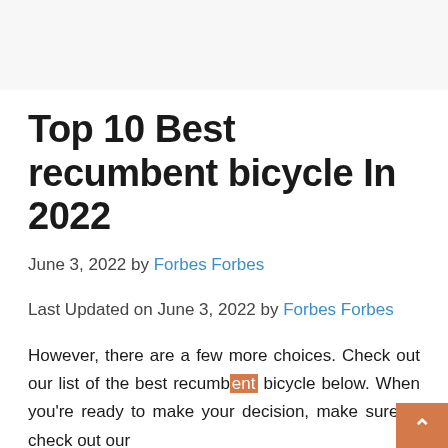Top 10 Best recumbent bicycle In 2022
June 3, 2022 by Forbes Forbes
Last Updated on June 3, 2022 by Forbes Forbes
However, there are a few more choices. Check out our list of the best recumbent bicycle below. When you're ready to make your decision, make sure to check out our